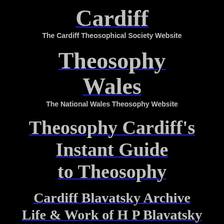Cardiff
The Cardiff Theosophical Society Website
Theosophy Wales
The National Wales Theosophy Website
Theosophy Cardiff's Instant Guide to Theosophy
Cardiff Blavatsky Archive
Life & Work of H P Blavatsky
A Theosophy Study Resource
Cardiff Theosophical Archive